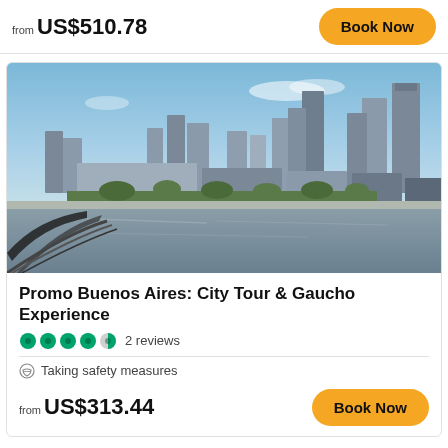from US$510.78
Book Now
[Figure (photo): Buenos Aires waterfront skyline with modern skyscrapers and a river in the foreground, blue sky above]
Promo Buenos Aires: City Tour & Gaucho Experience
2 reviews
Taking safety measures
from US$313.44
Book Now